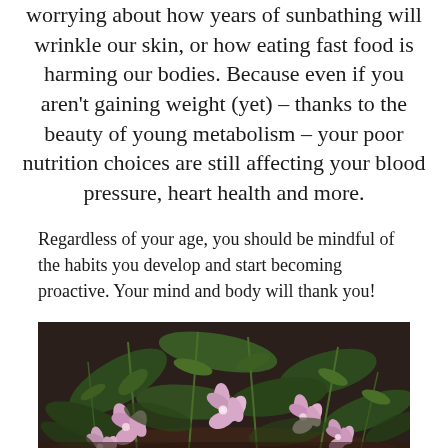worrying about how years of sunbathing will wrinkle our skin, or how eating fast food is harming our bodies. Because even if you aren't gaining weight (yet) – thanks to the beauty of young metabolism – your poor nutrition choices are still affecting your blood pressure, heart health and more.
Regardless of your age, you should be mindful of the habits you develop and start becoming proactive. Your mind and body will thank you!
[Figure (photo): A close-up photo of a person surrounded by green plants and pink wildflowers, viewed from above, with dark hair visible at the bottom.]